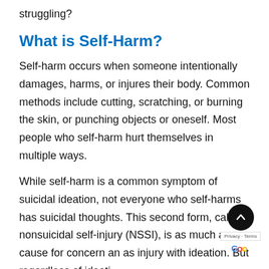struggling?
What is Self-Harm?
Self-harm occurs when someone intentionally damages, harms, or injures their body. Common methods include cutting, scratching, or burning the skin, or punching objects or oneself. Most people who self-harm hurt themselves in multiple ways.
While self-harm is a common symptom of suicidal ideation, not everyone who self-harms has suicidal thoughts. This second form, called nonsuicidal self-injury (NSSI), is as much a cause for concern as injury with ideation. But regardless of ideati...